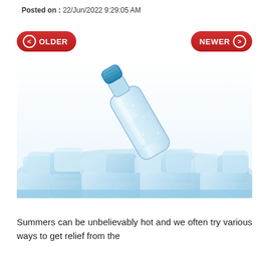Posted on : 22/Jun/2022 9:29:05 AM
OLDER (navigation button)
NEWER (navigation button)
[Figure (photo): A plastic water bottle resting among ice cubes on a white background. The bottle has a blue cap and condensation on its surface.]
Summers can be unbelievably hot and we often try various ways to get relief from the